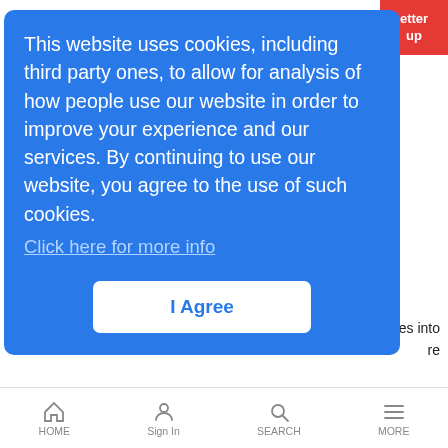[Figure (screenshot): Cookie consent overlay on a website. Blue rounded rectangle dialog with white text and an 'I Agree' button.]
This website uses cookies, including third party ones, to allow for analysis of how people use our website in order to improve your experience and our services. By continuing to use our website, you agree to the use of such cookies. Click here for more info
I Agree
in the mobile packet core and network functions virtualization/software-defined networking sectors
Zenverge Eyes More Streams for More Screens
LR Cable News Analysis | 2/4/2013
Zenverge is working on new gateway/set-top silicon that can transcode
HOME   Sign In   SEARCH   MORE